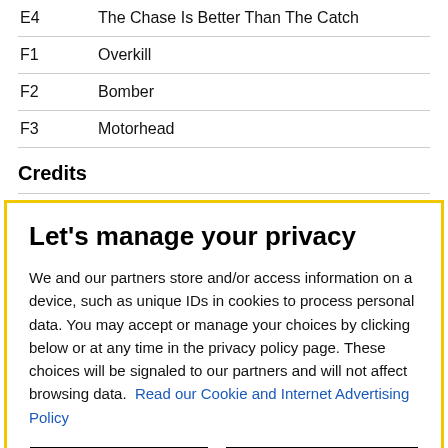| Track | Title |
| --- | --- |
| E4 | The Chase Is Better Than The Catch |
| F1 | Overkill |
| F2 | Bomber |
| F3 | Motorhead |
Credits
Let's manage your privacy

We and our partners store and/or access information on a device, such as unique IDs in cookies to process personal data. You may accept or manage your choices by clicking below or at any time in the privacy policy page. These choices will be signaled to our partners and will not affect browsing data. Read our Cookie and Internet Advertising Policy